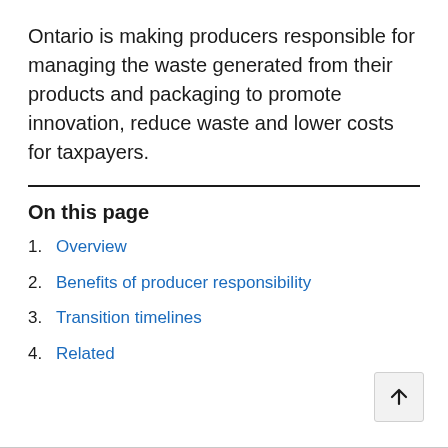Ontario is making producers responsible for managing the waste generated from their products and packaging to promote innovation, reduce waste and lower costs for taxpayers.
On this page
1. Overview
2. Benefits of producer responsibility
3. Transition timelines
4. Related